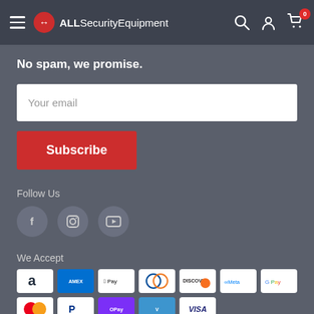ALLSecurityEquipment
No spam, we promise.
Your email
Subscribe
Follow Us
[Figure (illustration): Social media icons: Facebook, Instagram, YouTube]
We Accept
[Figure (illustration): Payment method logos: Amazon, Amex, Apple Pay, Diners Club, Discover, Meta Pay, Google Pay, Mastercard, PayPal, OPay, Venmo, Visa]